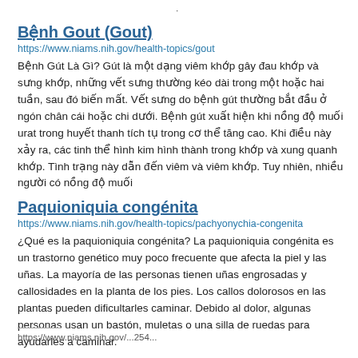Bệnh Gout (Gout)
https://www.niams.nih.gov/health-topics/gout
Bệnh Gút Là Gì? Gút là một dạng viêm khớp gây đau khớp và sưng khớp, những vết sưng thường kéo dài trong một hoặc hai tuần, sau đó biến mất. Vết sưng do bệnh gút thường bắt đầu ở ngón chân cái hoặc chi dưới. Bệnh gút xuất hiện khi nồng độ muối urat trong huyết thanh tích tụ trong cơ thể tăng cao. Khi điều này xảy ra, các tinh thể hình kim hình thành trong khớp và xung quanh khớp. Tình trạng này dẫn đến viêm và viêm khớp. Tuy nhiên, nhiều người có nồng độ muối
Paquioniquia congénita
https://www.niams.nih.gov/health-topics/pachyonychia-congenita
¿Qué es la paquioniquia congénita? La paquioniquia congénita es un trastorno genético muy poco frecuente que afecta la piel y las uñas. La mayoría de las personas tienen uñas engrosadas y callosidades en la planta de los pies. Los callos dolorosos en las plantas pueden dificultarles caminar. Debido al dolor, algunas personas usan un bastón, muletas o una silla de ruedas para ayudarles a caminar.
https://www.niams.nih.gov/...